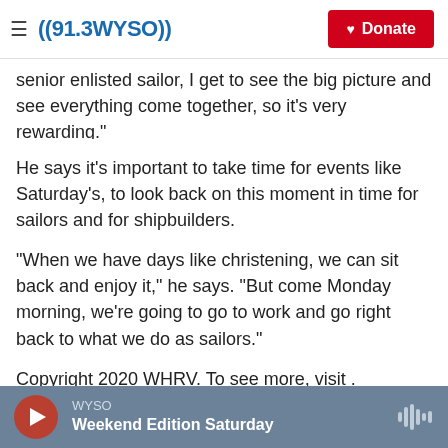((91.3WYSO)) Donate
senior enlisted sailor, I get to see the big picture and see everything come together, so it's very rewarding."
He says it's important to take time for events like Saturday's, to look back on this moment in time for sailors and for shipbuilders.
"When we have days like christening, we can sit back and enjoy it," he says. "But come Monday morning, we're going to go to work and go right back to what we do as sailors."
Copyright 2020 WHRV. To see more, visit .
WYSO — Weekend Edition Saturday